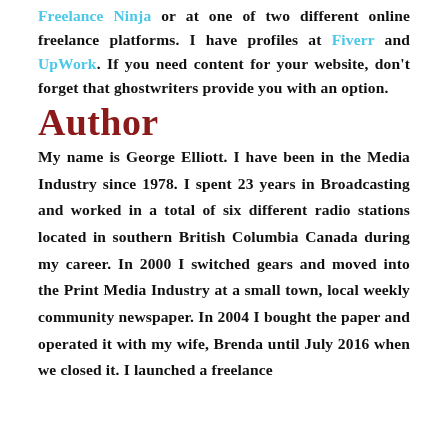Freelance Ninja or at one of two different online freelance platforms. I have profiles at Fiverr and UpWork. If you need content for your website, don't forget that ghostwriters provide you with an option.
Author
My name is George Elliott. I have been in the Media Industry since 1978. I spent 23 years in Broadcasting and worked in a total of six different radio stations located in southern British Columbia Canada during my career. In 2000 I switched gears and moved into the Print Media Industry at a small town, local weekly community newspaper. In 2004 I bought the paper and operated it with my wife, Brenda until July 2016 when we closed it. I launched a freelance